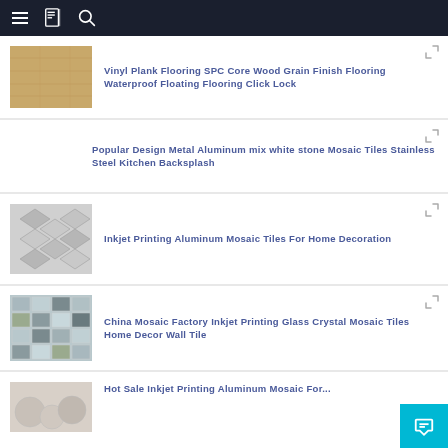Navigation menu
Vinyl Plank Flooring SPC Core Wood Grain Finish Flooring Waterproof Floating Flooring Click Lock
Popular Design Metal Aluminum mix white stone Mosaic Tiles Stainless Steel Kitchen Backsplash
Inkjet Printing Aluminum Mosaic Tiles For Home Decoration
China Mosaic Factory Inkjet Printing Glass Crystal Mosaic Tiles Home Decor Wall Tile
Hot Sale Inkjet Printing Aluminum Mosaic For...